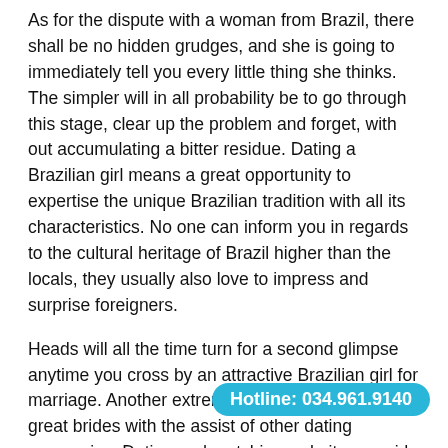As for the dispute with a woman from Brazil, there shall be no hidden grudges, and she is going to immediately tell you every little thing she thinks. The simpler will in all probability be to go through this stage, clear up the problem and forget, with out accumulating a bitter residue. Dating a Brazilian girl means a great opportunity to expertise the unique Brazilian tradition with all its characteristics. No one can inform you in regards to the cultural heritage of Brazil higher than the locals, they usually also love to impress and surprise foreigners.
Heads will all the time turn for a second glimpse anytime you cross by an attractive Brazilian girl for marriage. Another extremely popular way to meet great brides with the assist of other dating companies. Dating and matching websites provide opportunities to search out Brazilian wives online. It has a really lengthy list of relation... significantly help in finding corre...
Hotline: 034.961.9140